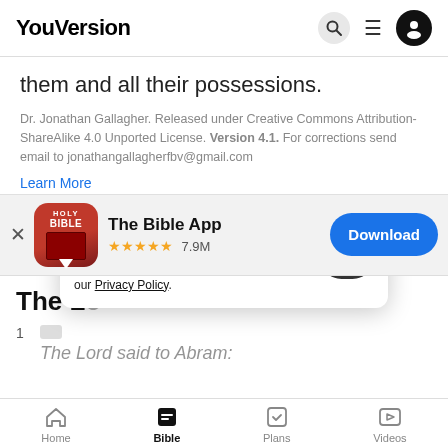YouVersion
them and all their possessions.
Dr. Jonathan Gallagher. Released under Creative Commons Attribution-ShareAlike 4.0 Unported License. Version 4.1. For corrections send email to jonathangallagherfbv@gmail.com
Learn More
[Figure (screenshot): App store banner for The Bible App with Holy Bible icon, 5 stars, 7.9M rating, and Download button]
The Lo
1
The Lord said to Abram:
YouVersion uses cookies to personalize your experience. By using our website, you accept our use of cookies as described in our Privacy Policy.
Home  Bible  Plans  Videos